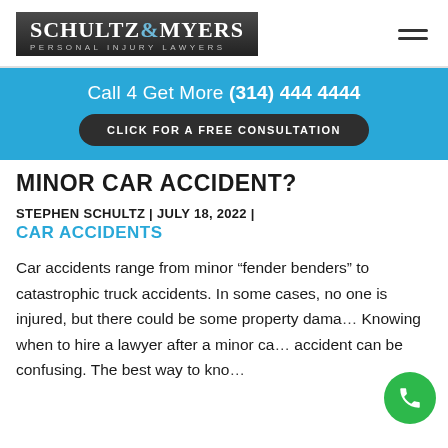Schultz & Myers Personal Injury Lawyers
Call 4 Get More (314) 444 4444
CLICK FOR A FREE CONSULTATION
MINOR CAR ACCIDENT?
STEPHEN SCHULTZ | JULY 18, 2022 | CAR ACCIDENTS
Car accidents range from minor “fender benders” to catastrophic truck accidents. In some cases, no one is injured, but there could be some property dama… Knowing when to hire a lawyer after a minor ca… accident can be confusing. The best way to know…